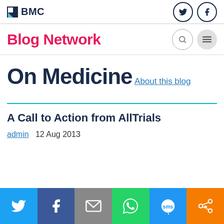BMC
Blog Network
On Medicine
About this blog
A Call to Action from AllTrials
admin   12 Aug 2013
[Figure (infographic): Social share bar with Twitter, Facebook, Email, WhatsApp, SMS, and share icons on colored backgrounds]